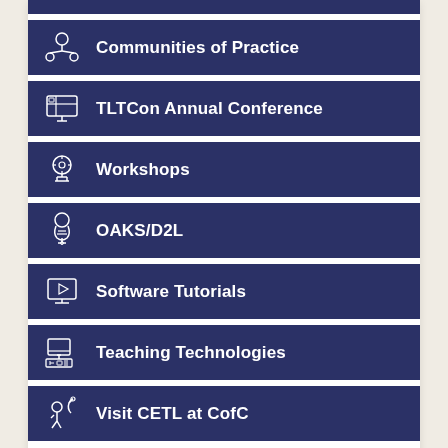Communities of Practice
TLTCon Annual Conference
Workshops
OAKS/D2L
Software Tutorials
Teaching Technologies
Visit CETL at CofC
Director: Zach Hartje